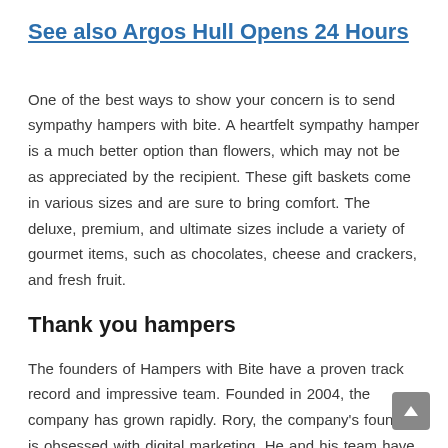See also  Argos Hull Opens 24 Hours
One of the best ways to show your concern is to send sympathy hampers with bite. A heartfelt sympathy hamper is a much better option than flowers, which may not be as appreciated by the recipient. These gift baskets come in various sizes and are sure to bring comfort. The deluxe, premium, and ultimate sizes include a variety of gourmet items, such as chocolates, cheese and crackers, and fresh fruit.
Thank you hampers
The founders of Hampers with Bite have a proven track record and impressive team. Founded in 2004, the company has grown rapidly. Rory, the company's founder, is obsessed with digital marketing. He and his team have carefully studied every advertising medium